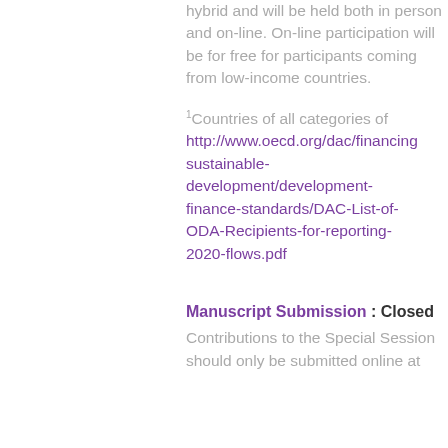hybrid and will be held both in person and on-line. On-line participation will be for free for participants coming from low-income countries.
1Countries of all categories of http://www.oecd.org/dac/financing-sustainable-development/development-finance-standards/DAC-List-of-ODA-Recipients-for-reporting-2020-flows.pdf
Manuscript Submission : Closed
Contributions to the Special Session should only be submitted online at